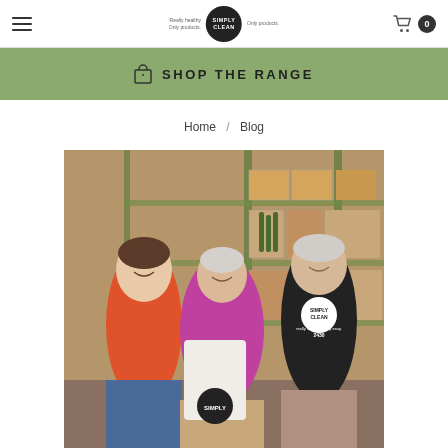Simply Clean - Navigation header with hamburger menu, logo, and cart
SHOP THE RANGE
Home / Blog
[Figure (photo): Three people standing in a warehouse/storage room with boxes and shelving. A woman in a red/orange top on the left, an older woman in a pink/magenta cardigan with a white Simply Clean tote bag in the center, and a man in a black Simply Clean t-shirt on the right.]